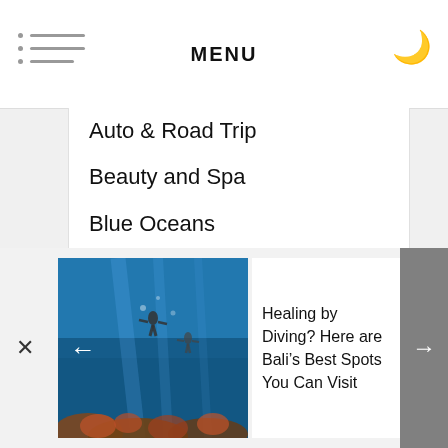MENU
Auto & Road Trip
Beauty and Spa
Blue Oceans
Booking
Computers and Gadget
Consumer Electronic
Cruises
Cultural Explorer
Culture
Destination
Development, Service & Support
Diving
[Figure (photo): Underwater diving photo showing divers and coral reef in blue ocean water]
Healing by Diving? Here are Bali’s Best Spots You Can Visit